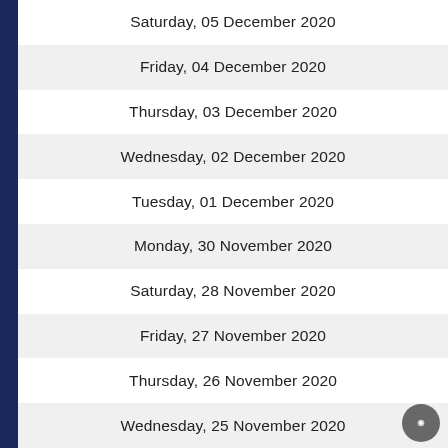Saturday, 05 December 2020
Friday, 04 December 2020
Thursday, 03 December 2020
Wednesday, 02 December 2020
Tuesday, 01 December 2020
Monday, 30 November 2020
Saturday, 28 November 2020
Friday, 27 November 2020
Thursday, 26 November 2020
Wednesday, 25 November 2020